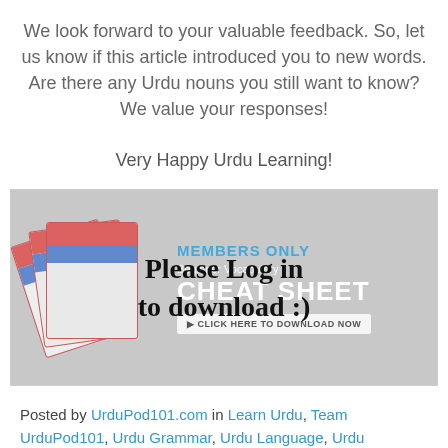We look forward to your valuable feedback. So, let us know if this article introduced you to new words. Are there any Urdu nouns you still want to know? We value your responses!
Very Happy Urdu Learning!
[Figure (infographic): Members Only banner with cheat sheet image on the left. Handwritten text overlay reads 'Please Log in to download :)'. Banner text: MEMBERS ONLY, Beginner Vocabulary, CHEAT SHEET, CLICK HERE TO DOWNLOAD NOW.]
Posted by UrduPod101.com in Learn Urdu, Team UrduPod101, Urdu Grammar, Urdu Language, Urdu